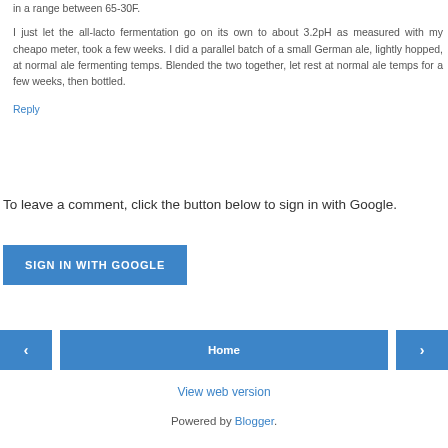in a range between 65-30F.
I just let the all-lacto fermentation go on its own to about 3.2pH as measured with my cheapo meter, took a few weeks. I did a parallel batch of a small German ale, lightly hopped, at normal ale fermenting temps. Blended the two together, let rest at normal ale temps for a few weeks, then bottled.
Reply
To leave a comment, click the button below to sign in with Google.
SIGN IN WITH GOOGLE
Home
View web version
Powered by Blogger.